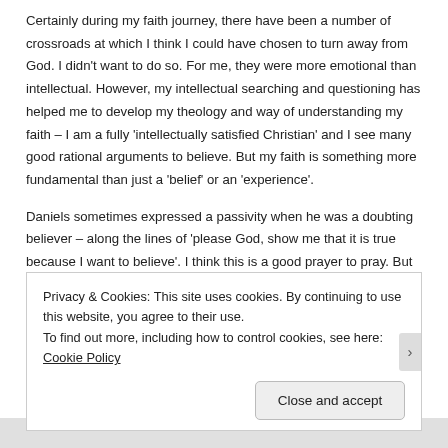Certainly during my faith journey, there have been a number of crossroads at which I think I could have chosen to turn away from God. I didn't want to do so. For me, they were more emotional than intellectual. However, my intellectual searching and questioning has helped me to develop my theology and way of understanding my faith – I am a fully 'intellectually satisfied Christian' and I see many good rational arguments to believe. But my faith is something more fundamental than just a 'belief' or an 'experience'.
Daniels sometimes expressed a passivity when he was a doubting believer – along the lines of 'please God, show me that it is true because I want to believe'. I think this is a good prayer to pray. But was it honest? What choices did he make along the way that reflect
Privacy & Cookies: This site uses cookies. By continuing to use this website, you agree to their use.
To find out more, including how to control cookies, see here: Cookie Policy